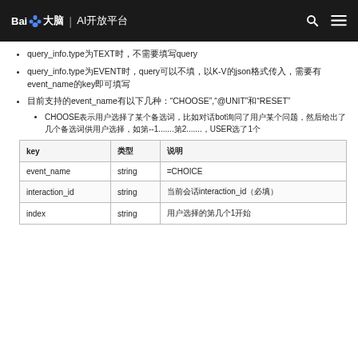百度大脑 | AI开放平台
query_info.type为TEXT时，不需要填写query
query_info.type为EVENT时，query可以不填，以K-V的json格式传入，需要有event_name的key即可填写
目前支持的event_name有以下几种："CHOOSE","@UNIT"和"RESET"
CHOOSE表示用户选择了某个备选词，比如对话bot询问了用户某个问题，然后给出了几个备选词供用户选择，如第--1.......第2.......，USER选了1个
| key | 类型 | 说明 |
| --- | --- | --- |
| event_name | string | =CHOICE |
| interaction_id | string | 当前会话interaction_id（必填） |
| index | string | 用户选择的第几个1开始 |